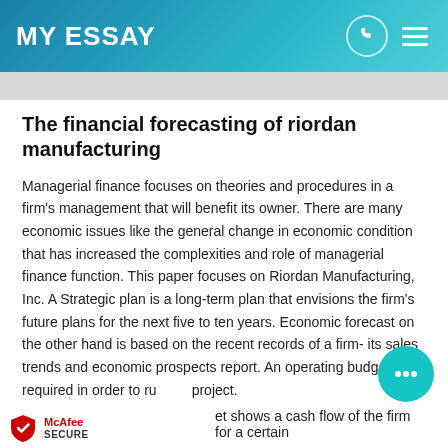MY ESSAY
The financial forecasting of riordan manufacturing
Managerial finance focuses on theories and procedures in a firm's management that will benefit its owner. There are many economic issues like the general change in economic condition that has increased the complexities and role of managerial finance function. This paper focuses on Riordan Manufacturing, Inc. A Strategic plan is a long-term plan that envisions the firm's future plans for the next five to ten years. Economic forecast on the other hand is based on the recent records of a firm- its sales trends and economic prospects report. An operating budget is required in order to ru project.
et shows a cash flow of the firm for a certain